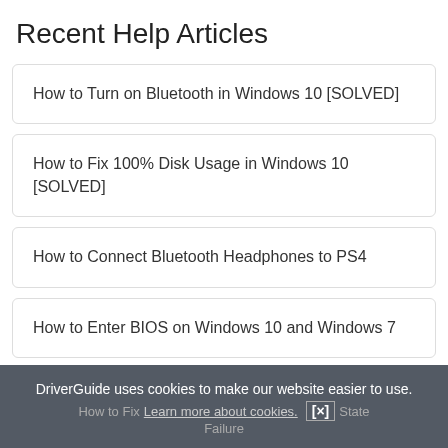Recent Help Articles
How to Turn on Bluetooth in Windows 10 [SOLVED]
How to Fix 100% Disk Usage in Windows 10 [SOLVED]
How to Connect Bluetooth Headphones to PS4
How to Enter BIOS on Windows 10 and Windows 7
DriverGuide uses cookies to make our website easier to use.
How to Fix ... State Failure
Learn more about cookies. [X]